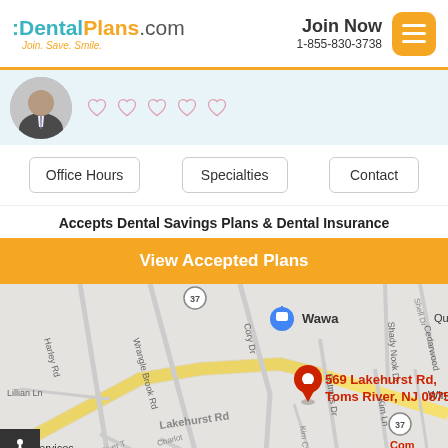[Figure (logo): DentalPlans.com logo with tagline 'Join. Save. Smile.']
Join Now
1-855-830-3738
[Figure (photo): Profile photo of a male dentist in suit and tie]
[Figure (other): Five empty heart/rating icons]
Office Hours
Specialties
Contact
Accepts Dental Savings Plans & Dental Insurance
View Accepted Plans
[Figure (map): Google Maps showing location at 569 Lakehurst Rd, Toms River, NJ 08755 with red pin marker. Nearby landmarks include Wawa, Harley Rd, Wrangle Brook Rd, Cory Dr, Kim Ln, Signal Dr, Lakehurst Rd, Shady Nook Dr, Cedarwood area.]